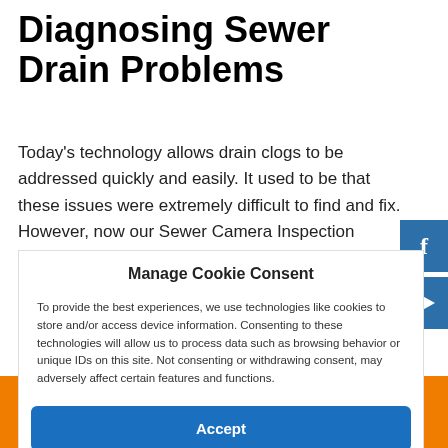Diagnosing Sewer Drain Problems
Today's technology allows drain clogs to be addressed quickly and easily. It used to be that these issues were extremely difficult to find and fix. However, now our Sewer Camera Inspection equipment can accurately identify problems in a pipe. This can save lots of money when you
Manage Cookie Consent
To provide the best experiences, we use technologies like cookies to store and/or access device information. Consenting to these technologies will allow us to process data such as browsing behavior or unique IDs on this site. Not consenting or withdrawing consent, may adversely affect certain features and functions.
Accept
Get Help Now!